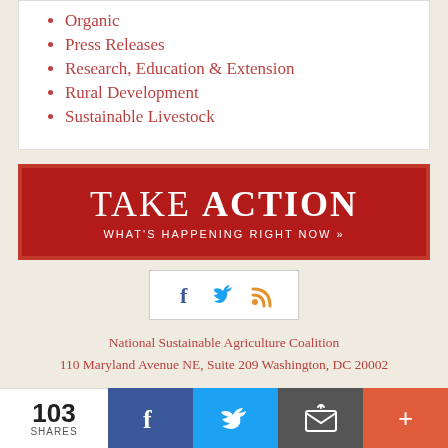Organic
Press Releases
Research, Education & Extension
Rural Development
Sustainable Livestock
[Figure (infographic): TAKE ACTION - WHAT'S HAPPENING RIGHT NOW banner in dark red with white text]
[Figure (infographic): Social media icons: Facebook (f), Twitter (bird), RSS feed in a white box]
National Sustainable Agriculture Coalition
110 Maryland Avenue NE, Suite 209 Washington, DC 20002
Contact Us
IMPORTANT UPDATE: ...
103 SHARES [Facebook] [Twitter] [Email] [+]